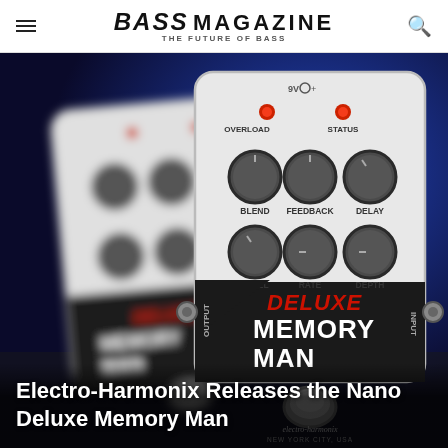BASS MAGAZINE — THE FUTURE OF BASS
[Figure (photo): Photo of Electro-Harmonix Nano Deluxe Memory Man guitar/bass effects pedal, silver and black, with knobs labeled BLEND, FEEDBACK, DELAY, LEVEL, RATE, DEPTH, LED indicators for OVERLOAD and STATUS, OUTPUT and INPUT jacks, and the Electro-Harmonix logo. A second blurred pedal is visible in the background. Blue background.]
Electro-Harmonix Releases the Nano Deluxe Memory Man